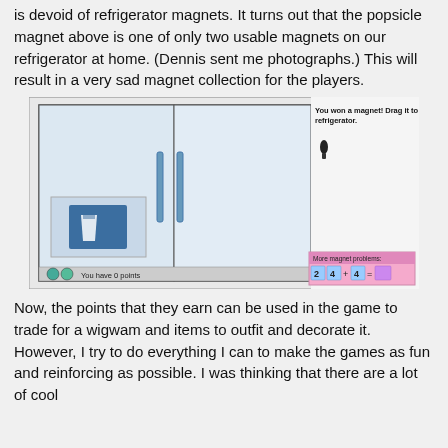is devoid of refrigerator magnets. It turns out that the popsicle magnet above is one of only two usable magnets on our refrigerator at home. (Dennis sent me photographs.) This will result in a very sad magnet collection for the players.
[Figure (screenshot): Screenshot of a refrigerator magnet game showing a side-by-side refrigerator with a water/ice dispenser, a magnet (popsicle shape) being dragged, text 'You won a magnet! Drag it to your refrigerator.', score display 'You have 0 points', and a math problem panel 'More magnet problems: 2 4 + 4 =']
Now, the points that they earn can be used in the game to trade for a wigwam and items to outfit and decorate it. However, I try to do everything I can to make the games as fun and reinforcing as possible. I was thinking that there are a lot of cool